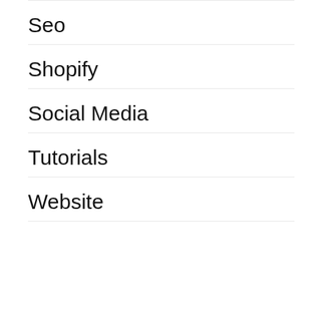Seo
Shopify
Social Media
Tutorials
Website
[Figure (photo): A photo showing dark metal fence bars/poles against a white background, with a person's hand visible at the lower right and what appears to be a light-colored wooden object at the lower left.]